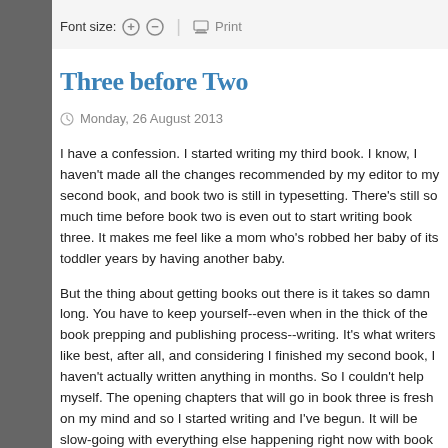Font size: + - | Print
Three before Two
Monday, 26 August 2013
I have a confession. I started writing my third book. I know, I haven't made all the changes recommended by my editor to my second book, and book two is still in typesetting. There's still so much time before book two is even out to start writing book three. It makes me feel like a mom who's robbed her baby of its toddler years by having another baby.
But the thing about getting books out there is it takes so damn long. You have to keep yourself--even when in the thick of the book prepping and publishing process--writing. It's what writers like best, after all, and considering I finished my second book, I haven't actually written anything in months. So I couldn't help myself. The opening chapters that will go in book three is fresh on my mind and so I started writing and I've begun. It will be slow-going with everything else happening right now with book two and I'm already hooked.